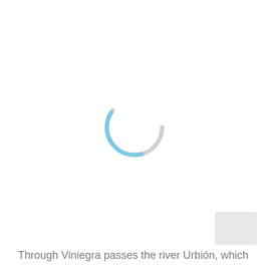[Figure (other): A loading spinner graphic: a circle outline with a light blue arc on the left side and a light gray arc on the right side, indicating a loading/spinning state.]
[Figure (other): A small light gray thumbnail rectangle in the bottom-right corner of the page.]
Through Viniegra passes the river Urbión, which